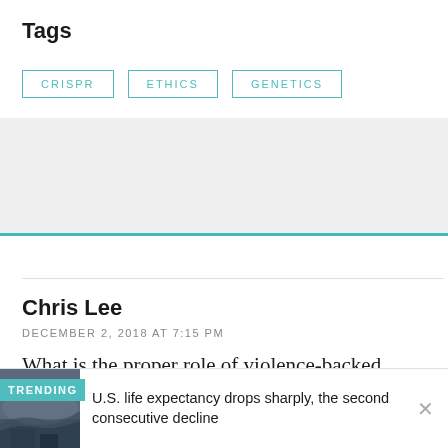Tags
CRISPR
ETHICS
GENETICS
Chris Lee
DECEMBER 2, 2018 AT 7:15 PM
What is the proper role of violence-backed on in science?
TRENDING
U.S. life expectancy drops sharply, the second consecutive decline